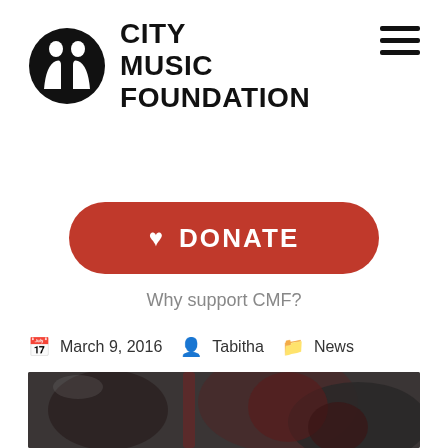[Figure (logo): City Music Foundation logo: black circle with two face silhouettes (profile, mirrored) side by side, alongside bold uppercase text 'CITY MUSIC FOUNDATION' in three lines]
[Figure (other): Hamburger menu icon: three horizontal black bars stacked vertically in top-right corner]
[Figure (other): Red pill-shaped donate button with white heart icon and 'DONATE' text]
Why support CMF?
March 9, 2016   Tabitha   News
[Figure (photo): Blurred photograph of what appears to be a musical performance or instrument, dark tones with red accents, taken in a stone/brick setting]